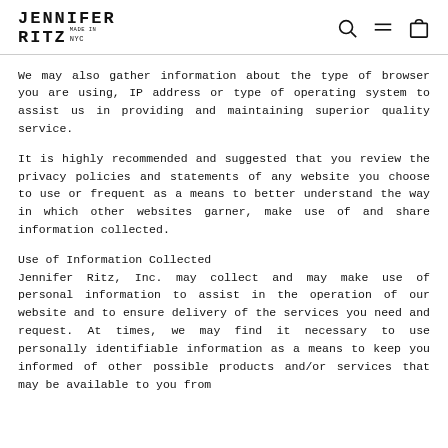JENNIFER RITZ MADE IN NYC
We may also gather information about the type of browser you are using, IP address or type of operating system to assist us in providing and maintaining superior quality service.
It is highly recommended and suggested that you review the privacy policies and statements of any website you choose to use or frequent as a means to better understand the way in which other websites garner, make use of and share information collected.
Use of Information Collected
Jennifer Ritz, Inc. may collect and may make use of personal information to assist in the operation of our website and to ensure delivery of the services you need and request. At times, we may find it necessary to use personally identifiable information as a means to keep you informed of other possible products and/or services that may be available to you from